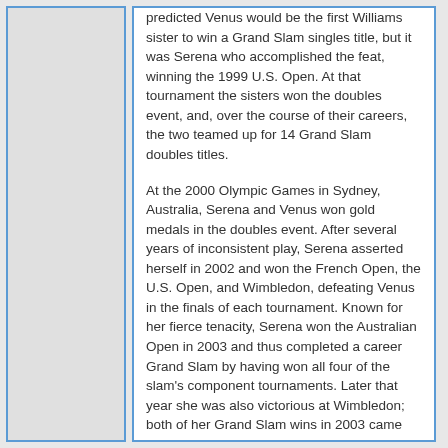predicted Venus would be the first Williams sister to win a Grand Slam singles title, but it was Serena who accomplished the feat, winning the 1999 U.S. Open. At that tournament the sisters won the doubles event, and, over the course of their careers, the two teamed up for 14 Grand Slam doubles titles.

At the 2000 Olympic Games in Sydney, Australia, Serena and Venus won gold medals in the doubles event. After several years of inconsistent play, Serena asserted herself in 2002 and won the French Open, the U.S. Open, and Wimbledon, defeating Venus in the finals of each tournament. Known for her fierce tenacity, Serena won the Australian Open in 2003 and thus completed a career Grand Slam by having won all four of the slam's component tournaments. Later that year she was also victorious at Wimbledon; both of her Grand Slam wins in 2003 came after she had bested her sister in the finals. In 2005 Serena won the Australian Open again. Beset by injury the following year, she rebounded in 2007 to win her third Australian Open. Serena and Venus won their second doubles tennis gold medal at the 2008 Olympic Games in Beijing. Later that year Serena won the U.S. Open for a third time. In 2009 she captured her 10th Grand Slam singles title by winning the Australian Open